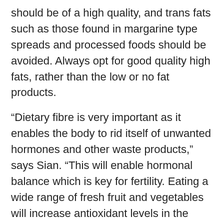should be of a high quality, and trans fats such as those found in margarine type spreads and processed foods should be avoided. Always opt for good quality high fats, rather than the low or no fat products.
“Dietary fibre is very important as it enables the body to rid itself of unwanted hormones and other waste products,” says Sian. “This will enable hormonal balance which is key for fertility. Eating a wide range of fresh fruit and vegetables will increase antioxidant levels in the body. Where possible, opt for organic products. These are grown and produced without chemicals and, as such, reduce the toxic load on the body, enabling it to function at its peak level.
“Reducing refined carbohydrates, such as refined sugar and white flour products, can be helpful for everyone in maintaining a healthier lifestyle. Avoid caffeine and nicotine at this time. Remember that caffeine is not just in coffee and black tea but also in green tea, white tea, matcha, maté and chocolate.”